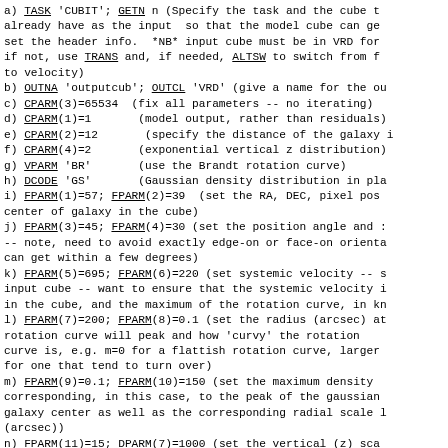a) TASK 'CUBIT'; GETN n (Specify the task and the cube th already have as the input  so that the model cube can ge set the header info.  *NB* input cube must be in VRD for if not, use TRANS and, if needed, ALTSW to switch from f to velocity)
b) OUTNA 'outputcub'; OUTCL 'VRD' (give a name for the ou
c) CPARM(3)=65534  (fix all parameters -- no iterating)
d) CPARM(1)=1       (model output, rather than residuals)
e) CPARM(2)=12      (specify the distance of the galaxy i
f) CPARM(4)=2       (exponential vertical z distribution)
g) VPARM 'BR'       (use the Brandt rotation curve)
h) DCODE 'GS'       (Gaussian density distribution in pla
i) FPARM(1)=57; FPARM(2)=39  (set the RA, DEC, pixel pos center of galaxy in the cube)
j) FPARM(3)=45; FPARM(4)=30 (set the position angle and -- note, need to avoid exactly edge-on or face-on orienta can get within a few degrees)
k) FPARM(5)=695; FPARM(6)=220 (set systemic velocity -- s input cube -- want to ensure that the systemic velocity i in the cube, and the maximum of the rotation curve, in k
l) FPARM(7)=200; FPARM(8)=0.1 (set the radius (arcsec) a rotation curve will peak and how 'curvy' the rotation curve is, e.g. m=0 for a flattish rotation curve, large for one that tend to turn over)
m) FPARM(9)=0.1; FPARM(10)=150 (set the maximum density corresponding, in this case, to the peak of the gaussian galaxy center as well as the corresponding radial scale (arcsec))
n) FPARM(11)=15; DPARM(7)=1000 (set the vertical (z) sca